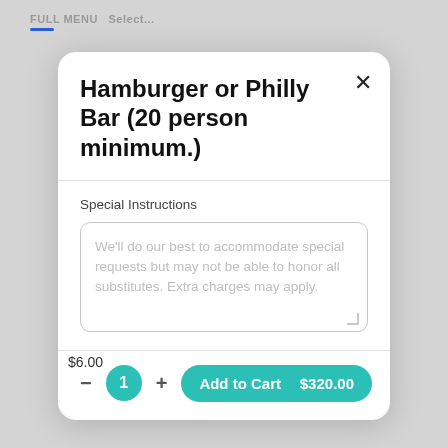Hamburger or Philly Bar (20 person minimum.)
Special Instructions
We'll do our best to accommodate special requests but may not be able to honor all substitutes. Extra charges may apply.
Add to Cart   $320.00
$6.00